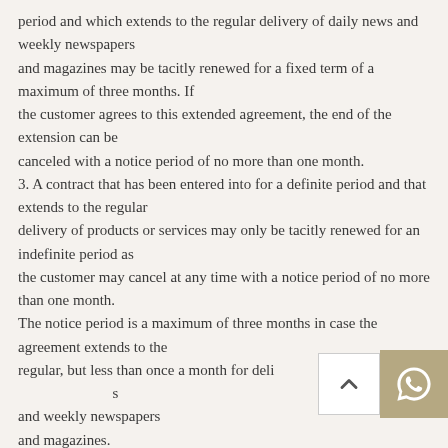period and which extends to the regular delivery of daily news and weekly newspapers and magazines may be tacitly renewed for a fixed term of a maximum of three months. If the customer agrees to this extended agreement, the end of the extension can be canceled with a notice period of no more than one month.
3. A contract that has been entered into for a definite period and that extends to the regular delivery of products or services may only be tacitly renewed for an indefinite period as the customer may cancel at any time with a notice period of no more than one month.
The notice period is a maximum of three months in case the agreement extends to the regular, but less than once a month for delivery of daily news and weekly newspapers and magazines.
4. A contract of limited duration to the regular delivery of